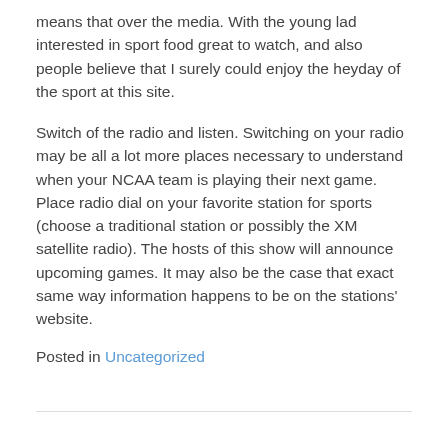means that over the media. With the young lad interested in sport food great to watch, and also people believe that I surely could enjoy the heyday of the sport at this site.
Switch of the radio and listen. Switching on your radio may be all a lot more places necessary to understand when your NCAA team is playing their next game. Place radio dial on your favorite station for sports (choose a traditional station or possibly the XM satellite radio). The hosts of this show will announce upcoming games. It may also be the case that exact same way information happens to be on the stations' website.
Posted in Uncategorized